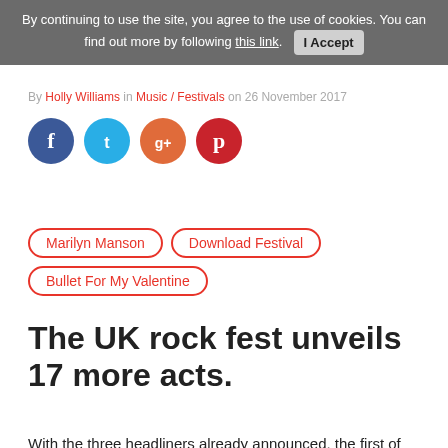By continuing to use the site, you agree to the use of cookies. You can find out more by following this link.  I Accept
By Holly Williams in Music / Festivals on 26 November 2017
[Figure (illustration): Social media icons: Facebook (blue circle), Twitter (light blue circle), Google+ (orange circle), Pinterest (red circle)]
Marilyn Manson  Download Festival  Bullet For My Valentine
The UK rock fest unveils 17 more acts.
With the three headliners already announced, the first of the remaining line-up of acts have now been announced for Download Festival 2018, with Marilyn Manson leading the new announcements at next